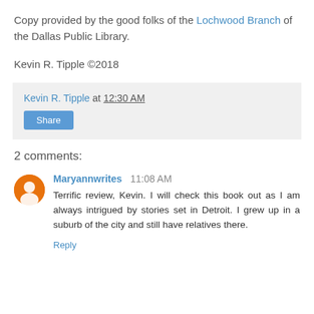Copy provided by the good folks of the Lochwood Branch of the Dallas Public Library.
Kevin R. Tipple ©2018
Kevin R. Tipple at 12:30 AM
Share
2 comments:
Maryannwrites  11:08 AM
Terrific review, Kevin. I will check this book out as I am always intrigued by stories set in Detroit. I grew up in a suburb of the city and still have relatives there.
Reply